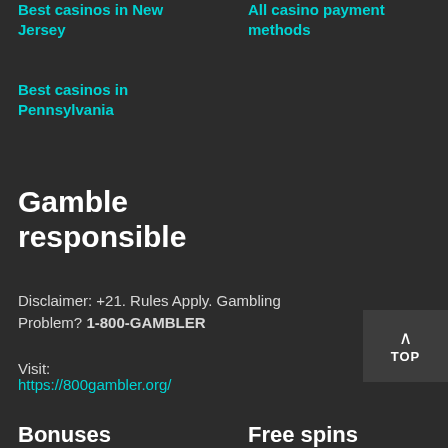Best casinos in New Jersey
All casino payment methods
Best casinos in Pennsylvania
Gamble responsible
Disclaimer: +21. Rules Apply. Gambling Problem? 1-800-GAMBLER
Visit:
https://800gambler.org/
Bonuses
Free spins